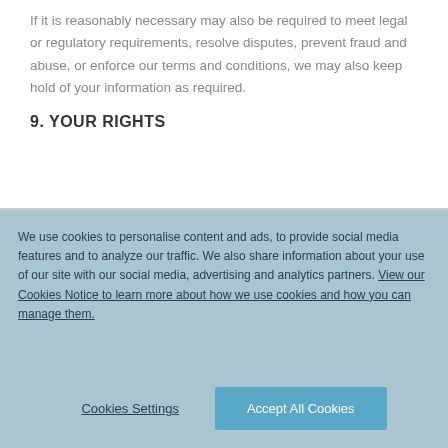If it is reasonably necessary may also be required to meet legal or regulatory requirements, resolve disputes, prevent fraud and abuse, or enforce our terms and conditions, we may also keep hold of your information as required.
9. YOUR RIGHTS
We use cookies to personalise content and ads, to provide social media features and to analyze our traffic. We also share information about your use of our site with our social media, advertising and analytics partners. View our Cookies Notice to learn more about how we use cookies and how you can manage them.
Cookies Settings
Accept All Cookies